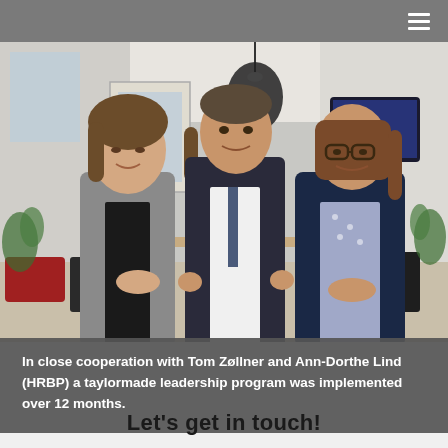[Figure (photo): Three professionals standing together in a modern office setting with furniture, plants, a lamp and a monitor visible in the background. Left: woman in grey blazer. Center: man in dark suit and white shirt. Right: woman in dark blazer with floral blouse wearing glasses.]
In close cooperation with Tom Zøllner and Ann-Dorthe Lind (HRBP) a taylormade leadership program was implemented over 12 months.
Let's get in touch!